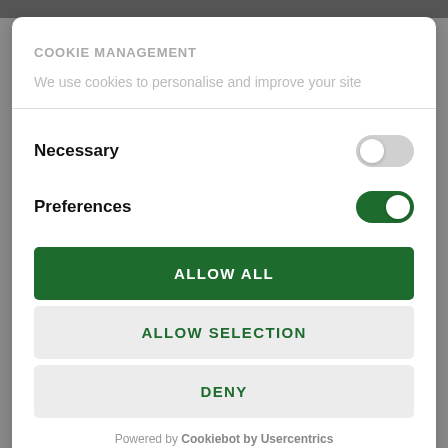[Figure (screenshot): Dark photo strip visible at top of page behind modal]
COOKIE MANAGEMENT
We use cookies to personalise and improve your site
Necessary [toggle off]
Preferences [toggle on]
ALLOW ALL
ALLOW SELECTION
DENY
Powered by Cookiebot by Usercentrics